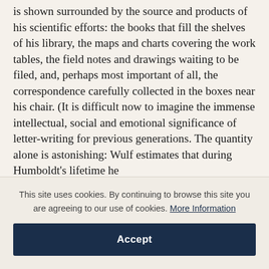is shown surrounded by the source and products of his scientific efforts: the books that fill the shelves of his library, the maps and charts covering the work tables, the field notes and drawings waiting to be filed, and, perhaps most important of all, the correspondence carefully collected in the boxes near his chair. (It is difficult now to imagine the immense intellectual, social and emotional significance of letter-writing for previous generations. The quantity alone is astonishing: Wulf estimates that during Humboldt's lifetime he
This site uses cookies. By continuing to browse this site you are agreeing to our use of cookies. More Information
Accept